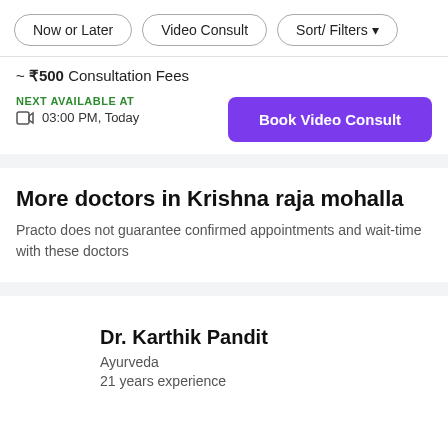Now or Later | Video Consult | Sort/ Filters
~ ₹500 Consultation Fees
NEXT AVAILABLE AT
03:00 PM, Today
Book Video Consult
More doctors in Krishna raja mohalla
Practo does not guarantee confirmed appointments and wait-time with these doctors
Dr. Karthik Pandit
Ayurveda
21 years experience